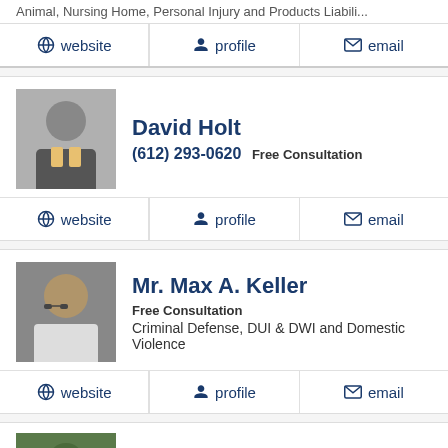Animal, Nursing Home, Personal Injury and Products Liabili...
website | profile | email
David Holt
(612) 293-0620 Free Consultation
website | profile | email
Mr. Max A. Keller
Free Consultation
Criminal Defense, DUI & DWI and Domestic Violence
website | profile | email
Alex De Marco